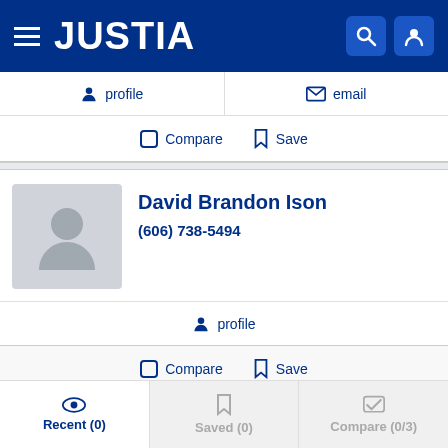JUSTIA
profile  |  email
Compare  Save
David Brandon Ison
(606) 738-5494
profile
Compare  Save
George Hogg Jr
Recent (0)  Saved (0)  Compare (0/3)